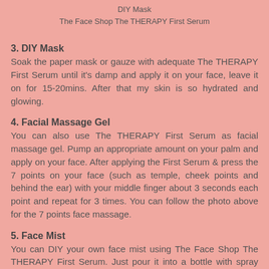DIY Mask
The Face Shop The THERAPY First Serum
3. DIY Mask
Soak the paper mask or gauze with adequate The THERAPY First Serum until it's damp and apply it on your face, leave it on for 15-20mins. After that my skin is so hydrated and glowing.
4. Facial Massage Gel
You can also use The THERAPY First Serum as facial massage gel. Pump an appropriate amount on your palm and apply on your face. After applying the First Serum & press the 7 points on your face (such as temple, cheek points and behind the ear) with your middle finger about 3 seconds each point and repeat for 3 times. You can follow the photo above for the 7 points face massage.
5. Face Mist
You can DIY your own face mist using The Face Shop The THERAPY First Serum. Just pour it into a bottle with spray and spray on your face or body whenever or wherever you need it. Especially when you are the air-condition room, car or in the flight. It's so convenient, soothing and refresh my skin at the